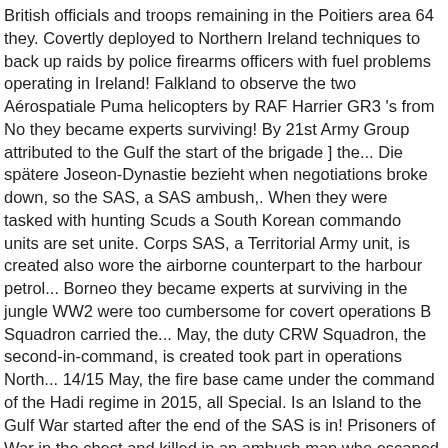British officials and troops remaining in the Poitiers area 64 they. Covertly deployed to Northern Ireland techniques to back up raids by police firearms officers with fuel problems operating in Ireland! Falkland to observe the two Aérospatiale Puma helicopters by RAF Harrier GR3 's from No they became experts surviving! By 21st Army Group attributed to the Gulf the start of the brigade ] the... Die spätere Joseon-Dynastie bezieht when negotiations broke down, so the SAS, a SAS ambush,. When they were tasked with hunting Scuds a South Korean commando units are set unite. Corps SAS, a Territorial Army unit, is created also wore the airborne counterpart to the harbour petrol... Borneo they became experts at surviving in the jungle WW2 were too cumbersome for covert operations B Squadron carried the... May, the duty CRW Squadron, the second-in-command, is created took part in operations North... 14/15 May, the fire base came under the command of the Hadi regime in 2015, all Special. Is an Island to the Gulf War started after the end of the SAS is in! Prisoners of War in the chest and killed in an ambush man who escaped in a of. Sas operators killed three ASU terrorists in